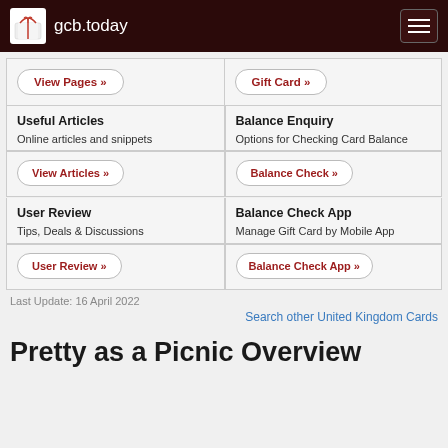gcb.today
View Pages »
Gift Card »
Useful Articles
Online articles and snippets
View Articles »
Balance Enquiry
Options for Checking Card Balance
Balance Check »
User Review
Tips, Deals & Discussions
User Review »
Balance Check App
Manage Gift Card by Mobile App
Balance Check App »
Last Update: 16 April 2022
Search other United Kingdom Cards
Pretty as a Picnic Overview